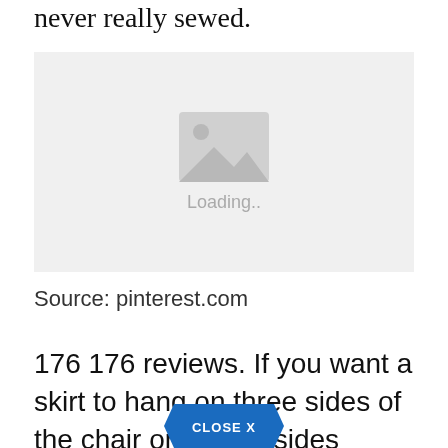never really sewed.
[Figure (photo): Image placeholder with loading icon and 'Loading..' text on a light grey background]
Source: pinterest.com
176 176 reviews. If you want a skirt to hang on three sides of the chair or all four sides
[Figure (other): CLOSE X button overlay at bottom center]